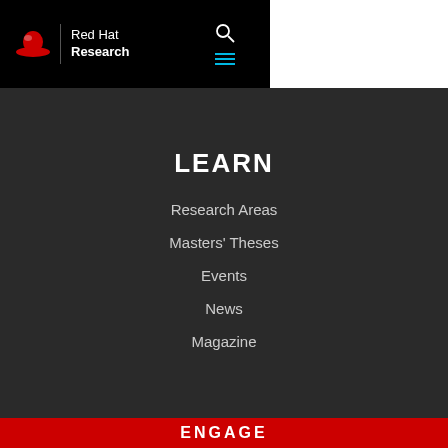[Figure (logo): Red Hat Research logo — red fedora hat icon, vertical divider, white text 'Red Hat Research' on black background with search and hamburger menu icons]
LEARN
Research Areas
Masters' Theses
Events
News
Magazine
ENGAGE